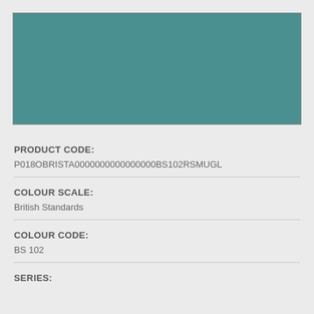[Figure (illustration): A solid teal/muted green-blue color swatch rectangle with a thin border]
PRODUCT CODE:
P018OBRISTA0000000000000000BS102RSMUGL
COLOUR SCALE:
British Standards
COLOUR CODE:
BS 102
SERIES: